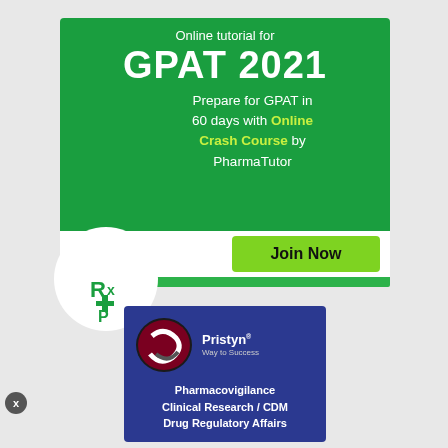[Figure (infographic): GPAT 2021 online tutorial advertisement banner. Green background with white text 'Online tutorial for GPAT 2021', subtitle 'Prepare for GPAT in 60 days with Online Crash Course by PharmaTutor', PharmaTutor logo (white circle with mortar board and Rx/P symbol), green 'Join Now' button, and green horizontal bar at bottom.]
[Figure (infographic): Pristyn 'Way to Success' advertisement. Dark blue background with Pristyn logo (dark red/black oval swirl design) and company name. Text: 'Pharmacovigilance Clinical Research / CDM Drug Regulatory Affairs']
x